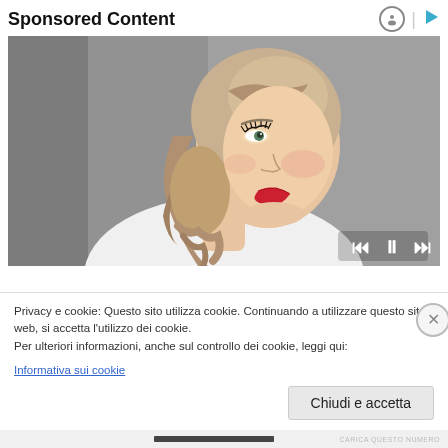Sponsored Content
[Figure (photo): Portrait photo of a young woman with blonde hair in a ponytail, wearing red lipstick, looking to the side against a grey background. Media playback controls (skip-back, pause, skip-forward) are overlaid at the bottom right.]
Privacy e cookie: Questo sito utilizza cookie. Continuando a utilizzare questo sito web, si accetta l'utilizzo dei cookie.
Per ulteriori informazioni, anche sul controllo dei cookie, leggi qui:
Informativa sui cookie
Chiudi e accetta